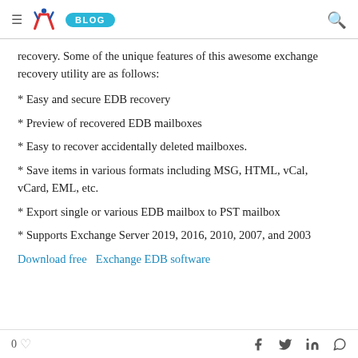≡ [logo] BLOG [search]
recovery. Some of the unique features of this awesome exchange recovery utility are as follows:
* Easy and secure EDB recovery
* Preview of recovered EDB mailboxes
* Easy to recover accidentally deleted mailboxes.
* Save items in various formats including MSG, HTML, vCal, vCard, EML, etc.
* Export single or various EDB mailbox to PST mailbox
* Supports Exchange Server 2019, 2016, 2010, 2007, and 2003
Download free  Exchange EDB software
0 [heart] [facebook] [twitter] [linkedin] [whatsapp]